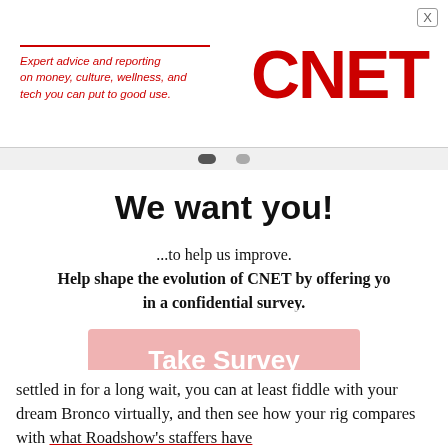[Figure (logo): CNET logo with tagline: Expert advice and reporting on money, culture, wellness, and tech you can put to good use.]
We want you!
...to help us improve. Help shape the evolution of CNET by offering yo in a confidential survey.
Take Survey
Contact us. When you reply to this survey, you acknowledge that Red Ventures colle accordance with the Red Ventures privacy policy availa
settled in for a long wait, you can at least fiddle with your dream Bronco virtually, and then see how your rig compares with what Roadshow's staffers have